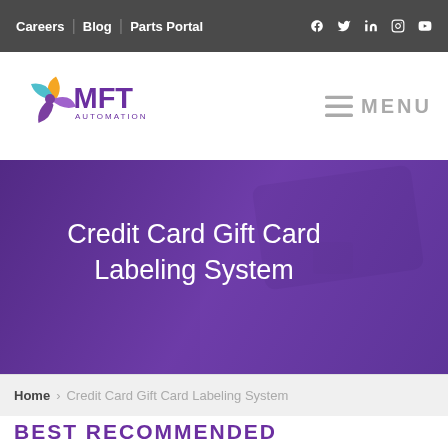Careers | Blog | Parts Portal [social icons: facebook, twitter, linkedin, instagram, youtube]
[Figure (logo): MFT Automation logo — stylized pinwheel icon in purple/teal/orange with MFT in bold purple letters and AUTOMATION below]
MENU
[Figure (photo): Hero banner with purple overlay showing a credit card being held, with large white text: Credit Card Gift Card Labeling System]
Credit Card Gift Card Labeling System
Home > Credit Card Gift Card Labeling System
BEST RECOMMENDED